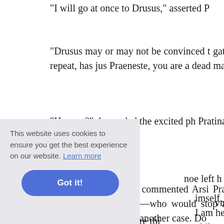"I will go at once to Drusus," asserted P
"Drusus may or may not be convinced t gather from what you repeat, has jus Praeneste, you are a dead man."
"How so?" demanded the excited ph Pratinas."
"How little wisdom," commented Arsi Pratinas is a reckless scoundrel—with e be—who would stop at nothing to silen isn't worse than many another case. Do vn."
noe left h
imself, "i I am hel philosoph
had the courage to kill myself before thi
This website uses cookies to ensure you get the best experience on our website. Learn more Got it!